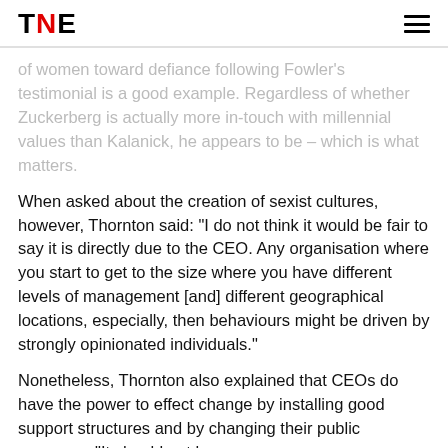TNE
of women toward defiance following Fowler's testimonial is a good example. Regardless of whether Zuckerberg is actually more in-touch with millennial values than Kalanick, he appears to be – which is what matters.
When asked about the creation of sexist cultures, however, Thornton said: "I do not think it would be fair to say it is directly due to the CEO. Any organisation where you start to get to the size where you have different levels of management [and] different geographical locations, especially, then behaviours might be driven by strongly opinionated individuals."
Nonetheless, Thornton also explained that CEOs do have the power to effect change by installing good support structures and by changing their public personas. "It should not be